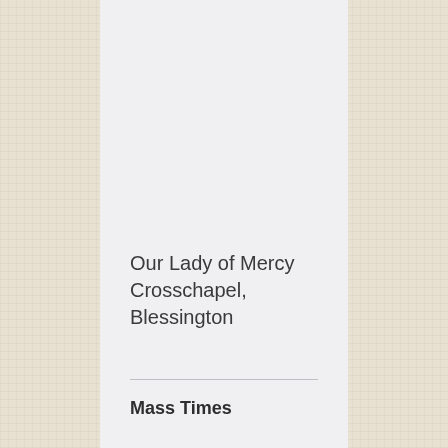Our Lady of Mercy Crosschapel, Blessington
Mass Times
Monday: 10:00am
Tuesday: 10:00am
Wednesday: 10:00am
Thursday: 10:00am
Friday: 10:00am